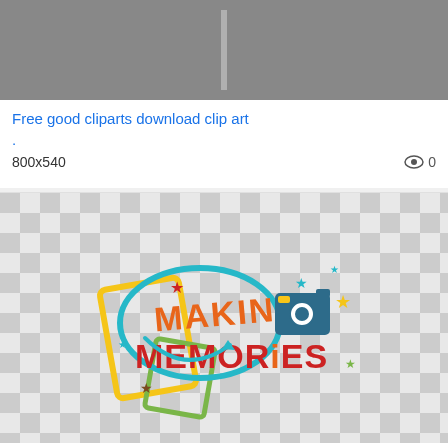[Figure (photo): Partial grayscale photo clipped at top]
Free good cliparts download clip art
.
800x540    👁 0
[Figure (illustration): Making Memories title SVG scrapbook cut file graphic on checkered background]
Clipground making title svg scrapbook cut file
Making Memories Title SVG scrapbook cut...